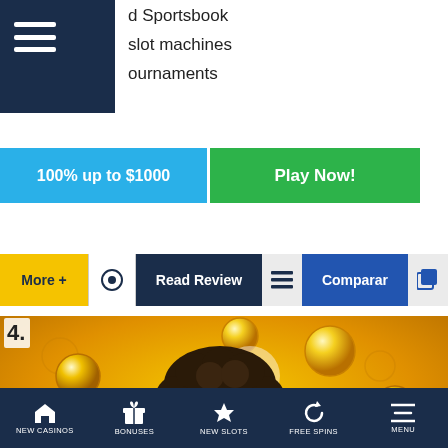d Sportsbook
slot machines
ournaments
100% up to $1000
Play Now!
More +
Read Review
Comparar
4.
[Figure (photo): Excited woman with curly hair surrounded by gold coins on yellow background]
NEW CASINOS  BONUSES  NEW SLOTS  FREE SPINS  MENU